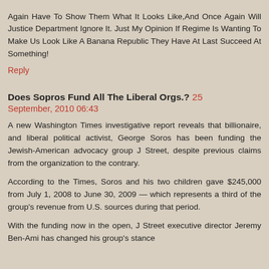Again Have To Show Them What It Looks Like,And Once Again Will Justice Department Ignore It. Just My Opinion If Regime Is Wanting To Make Us Look Like A Banana Republic They Have At Last Succeed At Something!
Reply
Does Sopros Fund All The Liberal Orgs.? 25 September, 2010 06:43
A new Washington Times investigative report reveals that billionaire, and liberal political activist, George Soros has been funding the Jewish-American advocacy group J Street, despite previous claims from the organization to the contrary.
According to the Times, Soros and his two children gave $245,000 from July 1, 2008 to June 30, 2009 — which represents a third of the group's revenue from U.S. sources during that period.
With the funding now in the open, J Street executive director Jeremy Ben-Ami has changed his group's stance